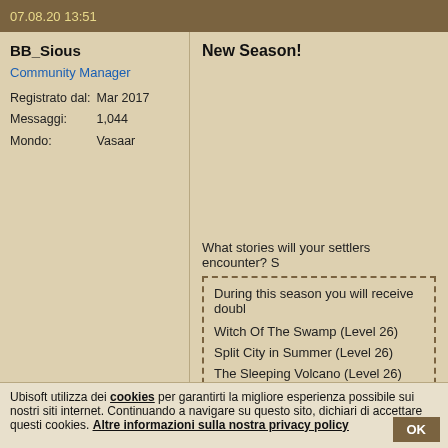07.08.20 13:51
BB_Sious
Community Manager
Registrato dal: Mar 2017
Messaggi: 1,044
Mondo: Vasaar
New Season!
What stories will your settlers encounter? S
During this season you will receive doubl

Witch Of The Swamp (Level 26)
Split City in Summer (Level 26)
The Sleeping Volcano (Level 26)
Ubisoft utilizza dei cookies per garantirti la migliore esperienza possibile sui nostri siti internet. Continuando a navigare su questo sito, dichiari di accettare questi cookies. Altre informazioni sulla nostra privacy policy